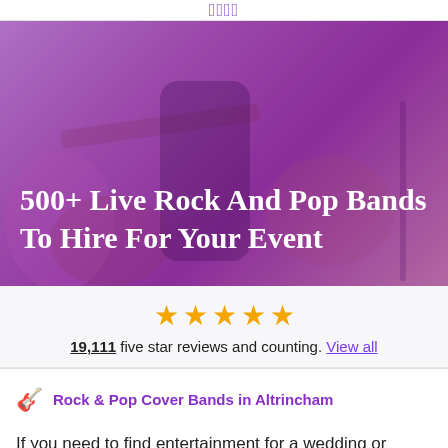Wow
[Figure (photo): Background image of musicians playing electric guitars on stage, overlaid with a purple/pink tint. Two people playing guitars are visible.]
500+ Live Rock And Pop Bands To Hire For Your Event
19,111 five star reviews and counting. View all
Rock & Pop Cover Bands in Altrincham
If you need to find entertainment for a wedding or